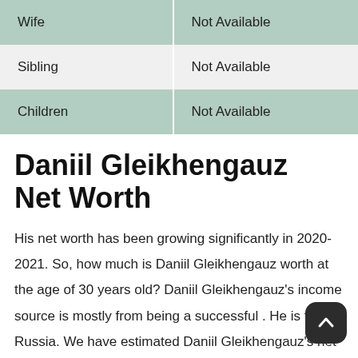| Wife | Not Available |
| Sibling | Not Available |
| Children | Not Available |
Daniil Gleikhengauz Net Worth
His net worth has been growing significantly in 2020-2021. So, how much is Daniil Gleikhengauz worth at the age of 30 years old? Daniil Gleikhengauz's income source is mostly from being a successful . He is from Russia. We have estimated Daniil Gleikhengauz's net worth, money, salary, income, and assets.